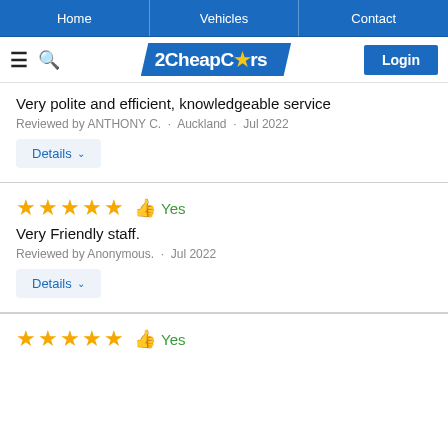Home · Vehicles · Contact
[Figure (logo): 2CheapCars logo in blue parallelogram with white star and Login button]
Very polite and efficient, knowledgeable service
Reviewed by ANTHONY C. · Auckland · Jul 2022
Details
★★★★★ 👍 Yes
Very Friendly staff.
Reviewed by Anonymous. · Jul 2022
Details
★★★★★ 👍 Yes